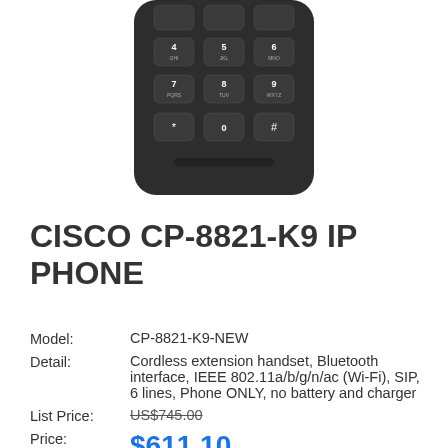[Figure (photo): Bottom portion of a Cisco CP-8821-K9 IP Phone showing the numeric keypad with keys 4 GHI, 5 JKL, 6 MNO, 7 PQRS, 8 TUV, 9 WXYZ, *, 0, # arranged in a dark handset body]
CISCO CP-8821-K9 IP PHONE
| Field | Value |
| --- | --- |
| Model: | CP-8821-K9-NEW |
| Detail: | Cordless extension handset, Bluetooth interface, IEEE 802.11a/b/g/n/ac (Wi-Fi), SIP, 6 lines, Phone ONLY, no battery and charger |
| List Price: | US$745.00 |
| Price: | $611.10 |
| You Save: | $133.90 (18% OFF) |